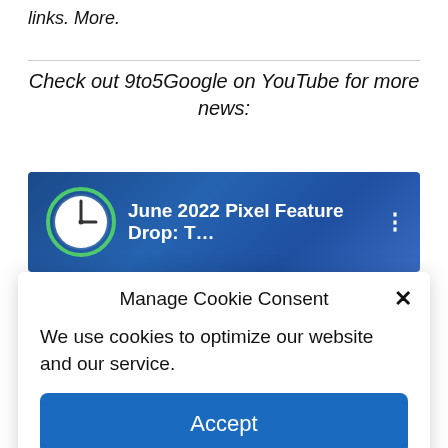links. More.
Check out 9to5Google on YouTube for more news:
[Figure (screenshot): YouTube video thumbnail showing a clock icon and the title 'June 2022 Pixel Feature Drop: T...' with a three-dot menu icon on a dark blue background]
Manage Cookie Consent
We use cookies to optimize our website and our service.
Accept
Cookie Policy